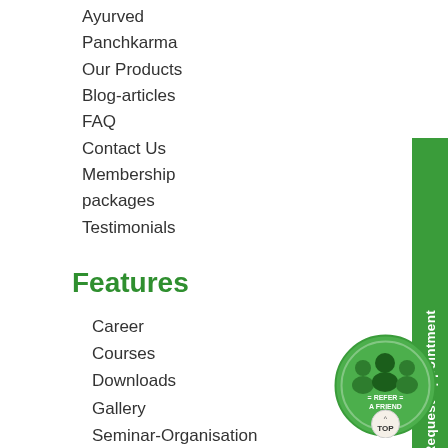Ayurved
Panchkarma
Our Products
Blog-articles
FAQ
Contact Us
Membership packages
Testimonials
Features
Career
Courses
Downloads
Gallery
Seminar-Organisation
Camp-Organisation
[Figure (illustration): Green circular badge with silhouettes of three people and text 'REFER A FRIEND' with a 'TOP' button below]